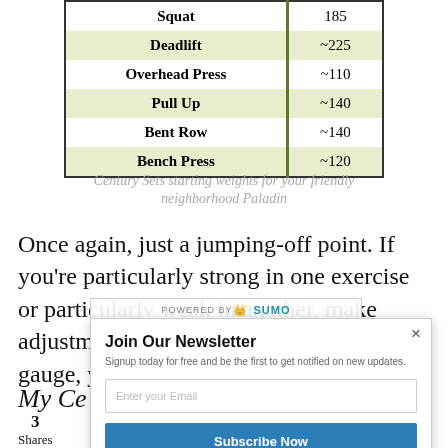| Exercise | Weight |
| --- | --- |
| Squat | 185 |
| Deadlift | ~225 |
| Overhead Press | ~110 |
| Pull Up | ~140 |
| Bent Row | ~140 |
| Bench Press | ~120 |
Century Sets starting weights for your friendly neighborhood Paladin
Once again, just a jumping-off point. If you're particularly strong in one exercise or particularly weak in another, make adjustments to the percentages. As a gauge, you should be able to hit 20 reps
My Ce
3
Shares